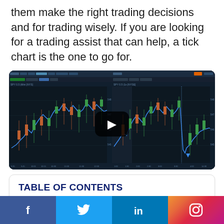them make the right trading decisions and for trading wisely. If you are looking for a trading assist that can help, a tick chart is the one to go for.
[Figure (screenshot): A video thumbnail showing two side-by-side trading charts (tick charts) with a play button overlay in the center. The charts show candlestick/line price data on a dark background.]
TABLE OF CONTENTS
Social share bar with Facebook, Twitter, LinkedIn, and Instagram buttons